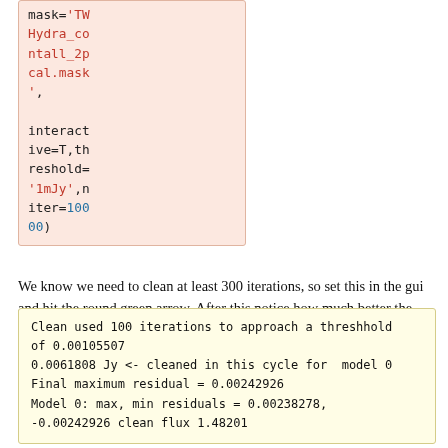mask='TW Hydra_contall_2pcal.mask', interactive=T,threshold='1mJy',niter=10000)
We know we need to clean at least 300 iterations, so set this in the gui and hit the round green arrow. After this notice how much better the residual looks. Clean another 100 iterations. The "circular pattern", and 4 bright spots at each corner you see now in the residual is likely due to non-closing amplitude errors that cannot be removed with an antenna based self-calibration, so this is as good as it gets with pure self-cal. Hit the Red X to stop clean.
Clean used 100 iterations to approach a threshhold of 0.00105507
0.0061808 Jy <- cleaned in this cycle for  model 0
Final maximum residual = 0.00242926
Model 0: max, min residuals = 0.00238278, -0.00242926 clean flux 1.48201